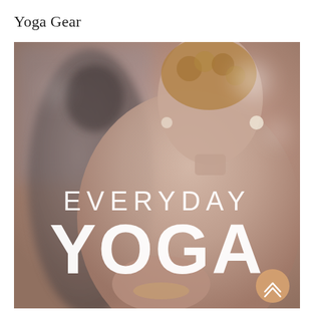Yoga Gear
[Figure (photo): Photo of two people in a yoga meditation pose with prayer hands. A woman in the foreground with curly hair and cream-colored earrings, and a man in the background slightly blurred. White text overlay reads 'EVERYDAY YOGA' in large bold letters. A gold/tan circular scroll-up button with double chevrons is in the bottom right corner.]